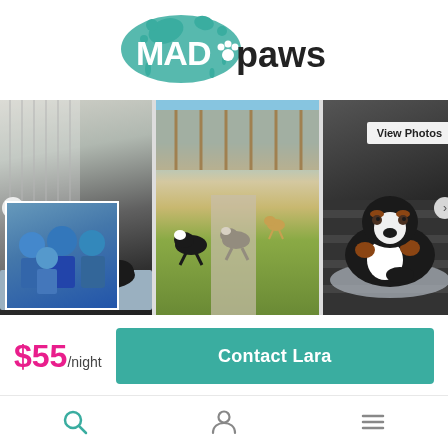[Figure (logo): Mad Paws logo — teal ink splash with paw print and 'MAD paws' text in teal and dark charcoal]
[Figure (photo): Photo strip with three pet photos: black and white border collie puppy on a bed, three dogs running in a sunny backyard, and a Bernese Mountain Dog puppy on a sofa. A thumbnail shows a family selfie.]
$55/night
Contact Lara